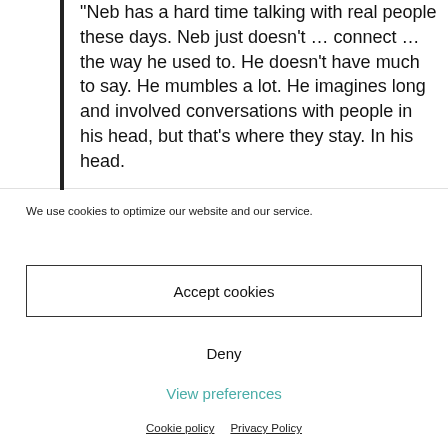"Neb has a hard time talking with real people these days. Neb just doesn't … connect … the way he used to. He doesn't have much to say. He mumbles a lot. He imagines long and involved conversations with people in his head, but that's where they stay. In his head.
We use cookies to optimize our website and our service.
Accept cookies
Deny
View preferences
Cookie policy   Privacy Policy